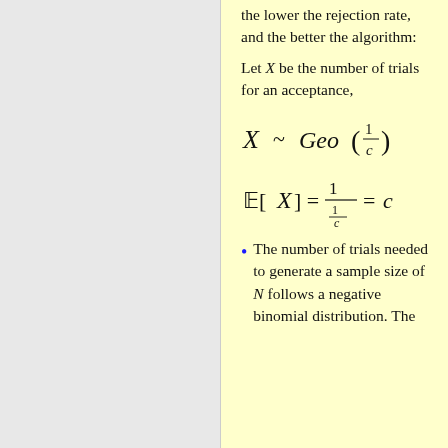the lower the rejection rate, and the better the algorithm:
Let X be the number of trials for an acceptance,
The number of trials needed to generate a sample size of N follows a negative binomial distribution. The